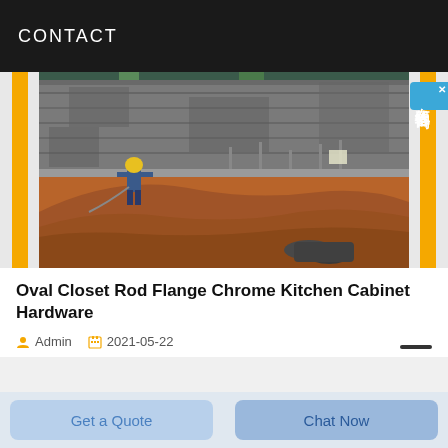CONTACT
[Figure (photo): A construction site photograph showing a worker in a yellow hard hat on a mound of brown/red dirt, with a large concrete retaining wall in the background. Yellow vertical bars frame the left and right edges of the image.]
Oval Closet Rod Flange Chrome Kitchen Cabinet Hardware
Admin  2021-05-22